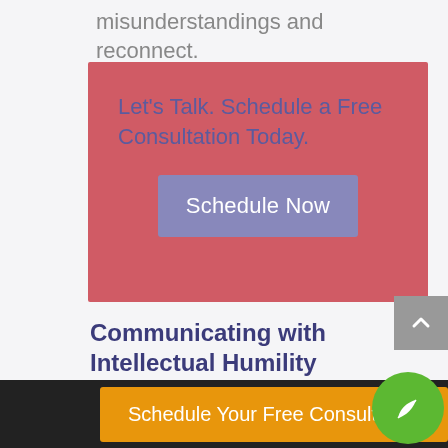misunderstandings and reconnect.
[Figure (infographic): Red/salmon colored call-to-action box containing text 'Let's Talk. Schedule a Free Consultation Today.' and a muted purple 'Schedule Now' button]
Communicating with Intellectual Humility
It is not what the ego says, it is how
Schedule Your Free Consultation